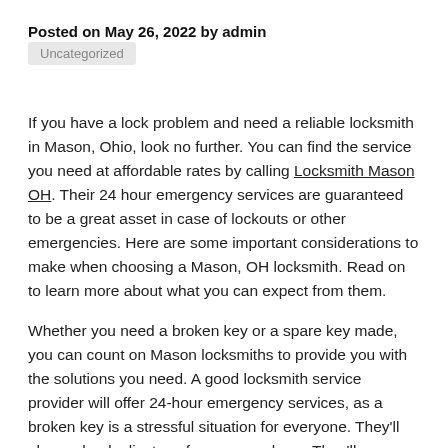Posted on May 26, 2022 by admin
Uncategorized
If you have a lock problem and need a reliable locksmith in Mason, Ohio, look no further. You can find the service you need at affordable rates by calling Locksmith Mason OH. Their 24 hour emergency services are guaranteed to be a great asset in case of lockouts or other emergencies. Here are some important considerations to make when choosing a Mason, OH locksmith. Read on to learn more about what you can expect from them.
Whether you need a broken key or a spare key made, you can count on Mason locksmiths to provide you with the solutions you need. A good locksmith service provider will offer 24-hour emergency services, as a broken key is a stressful situation for everyone. They'll also make duplicates of your spare keys. They'll even provide you with a free consultation if you need assistance and think of locksmith concerns and